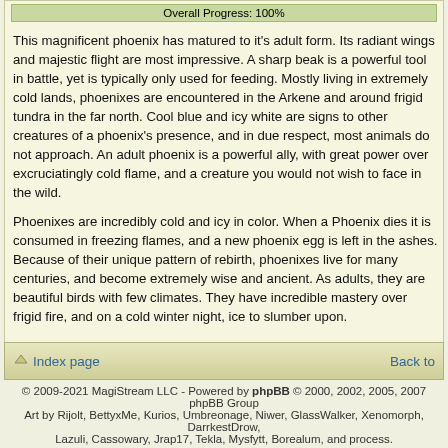| Overall Progress: 100% |
| --- |
This magnificent phoenix has matured to it's adult form. Its radiant wings and majestic flight are most impressive. A sharp beak is a powerful tool in battle, yet is typically only used for feeding. Mostly living in extremely cold lands, phoenixes are encountered in the Arkene and around frigid tundra in the far north. Cool blue and icy white are signs to other creatures of a phoenix's presence, and in due respect, most animals do not approach. An adult phoenix is a powerful ally, with great power over excruciatingly cold flame, and a creature you would not wish to face in the wild.

Phoenixes are incredibly cold and icy in color. When a Phoenix dies it is consumed in freezing flames, and a new phoenix egg is left in the ashes. Because of their unique pattern of rebirth, phoenixes live for many centuries, and become extremely wise and ancient. As adults, they are beautiful birds with few climates. They have incredible mastery over frigid fire, and on a cold winter night, ice to slumber upon.
Sprite art: Rijolt | Description:
Index page   Back to
© 2009-2021 MagiStream LLC - Powered by phpBB © 2000, 2002, 2005, 2007 phpBB Group
Art by Rijolt, BettyxMe, Kurios, Umbreonage, Niwer, GlassWalker, Xenomorph, DarrkestDrow,
Lazuli, Cassowary, Jrap17, Tekla, Mysfytt, Borealum, and process.